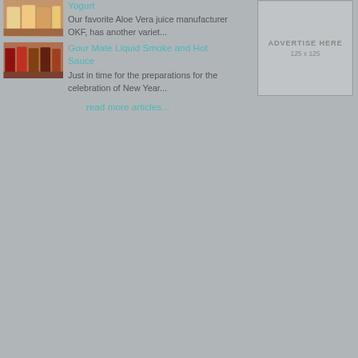Yogurt
[Figure (photo): Product image of yogurt drinks/bottles on shelf]
Our favorite Aloe Vera juice manufacturer OKF, has another variet...
Gour Mate Liquid Smoke and Hot Sauce
[Figure (photo): Product image of Gour Mate Liquid Smoke and Hot Sauce bottles]
Just in time for the preparations for the celebration of New Year...
read more articles...
[Figure (other): Advertisement placeholder box, 125 x 125]